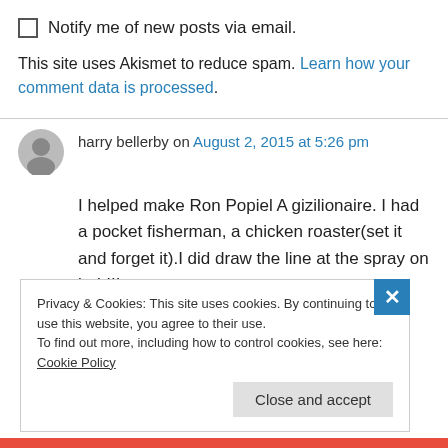Notify me of new posts via email.
This site uses Akismet to reduce spam. Learn how your comment data is processed.
harry bellerby on August 2, 2015 at 5:26 pm
I helped make Ron Popiel A gizilionaire. I had a pocket fisherman, a chicken roaster(set it and forget it).I did draw the line at the spray on hair!!!
Privacy & Cookies: This site uses cookies. By continuing to use this website, you agree to their use. To find out more, including how to control cookies, see here: Cookie Policy
Close and accept